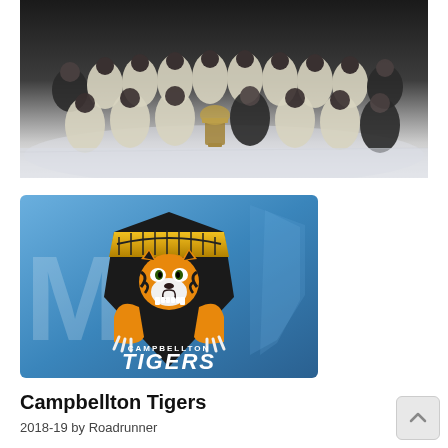[Figure (photo): Hockey team group photo on ice, players in white and gold jerseys posing with a trophy, coaches in dark clothing on the sides, ice rink background]
[Figure (logo): Campbellton Tigers hockey team logo: a snarling tiger mascot with gold and black stripes crouching over a black shield with golden bridge graphic, text 'CAMPBELLTON TIGERS' in white, set against a blue background with a stylized 'M' watermark]
Campbellton Tigers
2018-19 by Roadrunner...